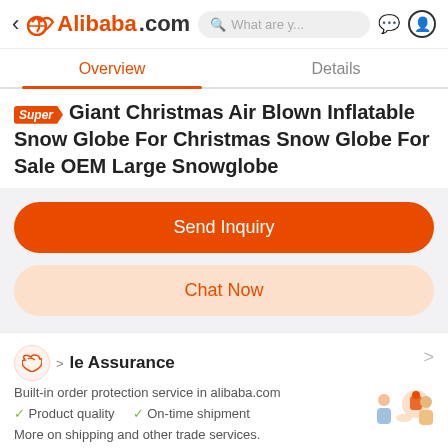Alibaba.com
Overview | Details
Giant Christmas Air Blown Inflatable Snow Globe For Christmas Snow Globe For Sale OEM Large Snowglobe
Send Inquiry
Chat Now
Trade Assurance
Built-in order protection service in alibaba.com
Product quality  On-time shipment
More on shipping and other trade services.